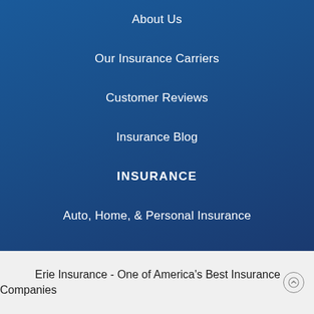About Us
Our Insurance Carriers
Customer Reviews
Insurance Blog
INSURANCE
Auto, Home, & Personal Insurance
Erie Insurance - One of America's Best Insurance Companies